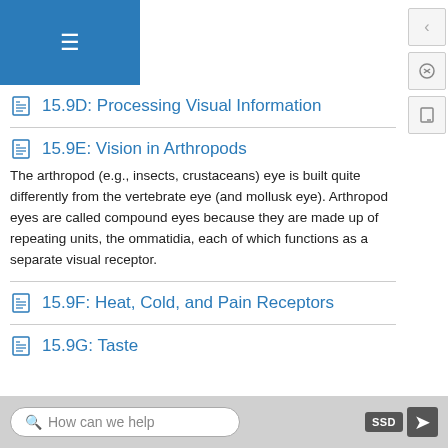15.9D: Processing Visual Information
15.9E: Vision in Arthropods
The arthropod (e.g., insects, crustaceans) eye is built quite differently from the vertebrate eye (and mollusk eye). Arthropod eyes are called compound eyes because they are made up of repeating units, the ommatidia, each of which functions as a separate visual receptor.
15.9F: Heat, Cold, and Pain Receptors
15.9G: Taste